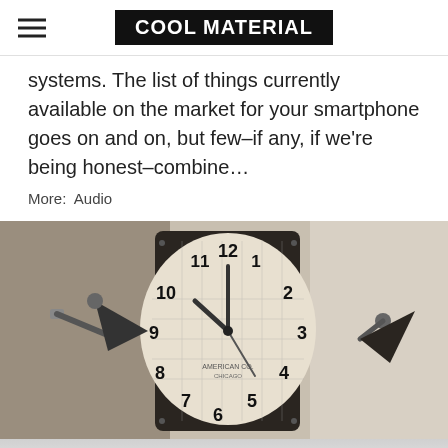COOL MATERIAL
systems. The list of things currently available on the market for your smartphone goes on and on, but few–if any, if we're being honest–combine…
More: Audio
[Figure (photo): A vintage-style clock face with grid pattern dial showing numerals 1-12, flanked by two black industrial wall sconce lamps, in a sepia/dark toned photograph.]
[Figure (photo): Bottom partial image showing a light-colored blurred background with soft objects.]